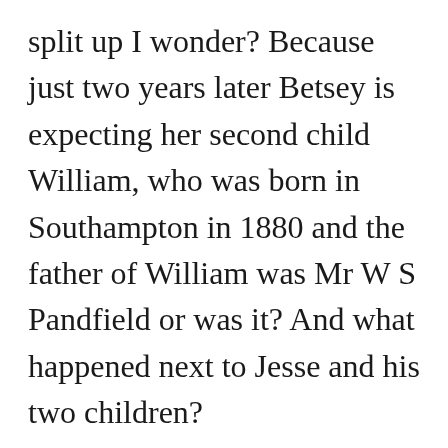split up I wonder? Because just two years later Betsey is expecting her second child William, who was born in Southampton in 1880 and the father of William was Mr W S Pandfield or was it? And what happened next to Jesse and his two children?
I think I have found a possible